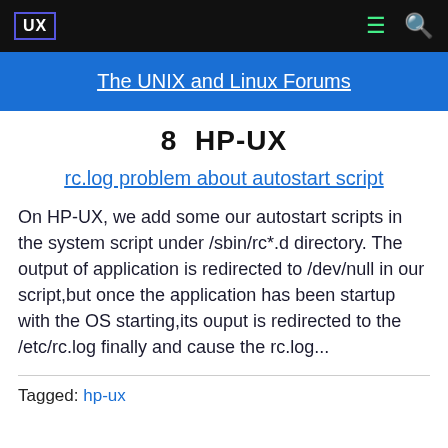UX | The UNIX and Linux Forums
8  HP-UX
rc.log problem about autostart script
On HP-UX, we add some our autostart scripts in the system script under /sbin/rc*.d directory. The output of application is redirected to /dev/null in our script,but once the application has been startup with the OS starting,its ouput is redirected to the /etc/rc.log finally and cause the rc.log...
Tagged: hp-ux